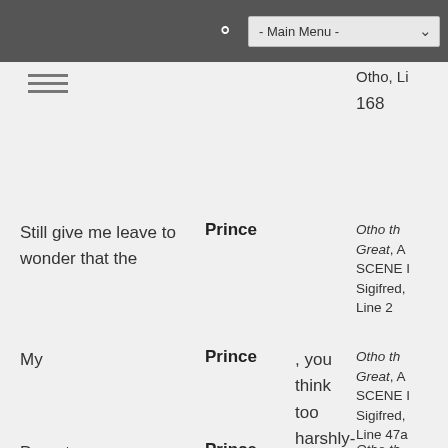Otho, Li
168
Still give me leave to wonder that the
Prince
Otho the Great, A SCENE I Sigifred, Line 2
My
Prince
, you think too harshly-
Otho the Great, A SCENE I Sigifred, Line 47a
Do not wrong me,
Prince
.
Otho the Great, A SCENE I Sigifred,